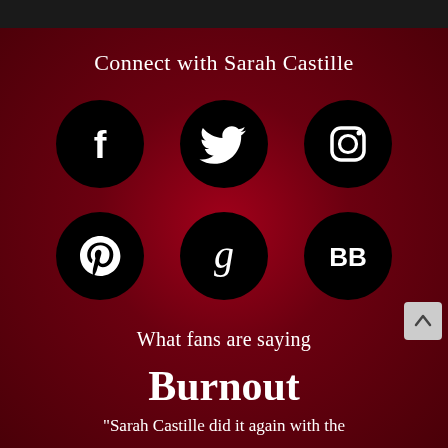Connect with Sarah Castille
[Figure (other): Six social media icons in two rows of three: Facebook, Twitter, Instagram (top row); Pinterest, Goodreads, BookBub (bottom row). Each icon is a white symbol on a black circle.]
What fans are saying
Burnout
"Sarah Castille did it again with the